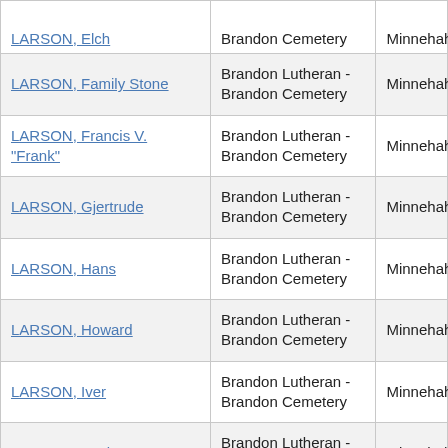| Name | Cemetery | County |
| --- | --- | --- |
| LARSON, Elch (partial) | Brandon Cemetery (partial) | Minnehaha (partial) |
| LARSON, Family Stone | Brandon Lutheran - Brandon Cemetery | Minnehaha |
| LARSON, Francis V. "Frank" | Brandon Lutheran - Brandon Cemetery | Minnehaha |
| LARSON, Gjertrude | Brandon Lutheran - Brandon Cemetery | Minnehaha |
| LARSON, Hans | Brandon Lutheran - Brandon Cemetery | Minnehaha |
| LARSON, Howard | Brandon Lutheran - Brandon Cemetery | Minnehaha |
| LARSON, Iver | Brandon Lutheran - Brandon Cemetery | Minnehaha |
| LARSON, Merle C. | Brandon Lutheran - Brandon Cemetery | Minnehaha |
| LARSON, Plot | Brandon Lutheran - Brandon Cemetery | Minnehaha |
| (partial) | Brandon Lutheran - (partial) | (partial) |